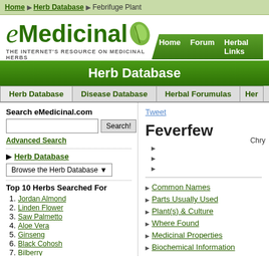Home ▶ Herb Database ▶ Febrifuge Plant
[Figure (logo): eMedicinal logo with green leaf graphic and tagline 'THE INTERNET'S RESOURCE ON MEDICINAL HERBS']
Home   Forum   Herbal Links
Herb Database
| Herb Database | Disease Database | Herbal Forumulas | Her |
| --- | --- | --- | --- |
Search eMedicinal.com
Advanced Search
▶ Herb Database
Browse the Herb Database ▼
Top 10 Herbs Searched For
1. Jordan Almond
2. Linden Flower
3. Saw Palmetto
4. Aloe Vera
5. Ginseng
6. Black Cohosh
7. Bilberry
8. Feverfew
9. He shou wu
10. St. John's Wort
Herbs From Home!
Tweet
Feverfew
Chry
▶ Common Names
▶ Parts Usually Used
▶ Plant(s) & Culture
▶ Where Found
▶ Medicinal Properties
▶ Biochemical Information